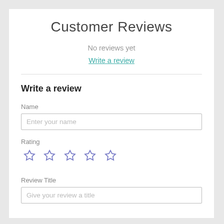Customer Reviews
No reviews yet
Write a review
Write a review
Name
Enter your name
Rating
[Figure (illustration): Five empty star rating icons in indigo/purple outline style]
Review Title
Give your review a title